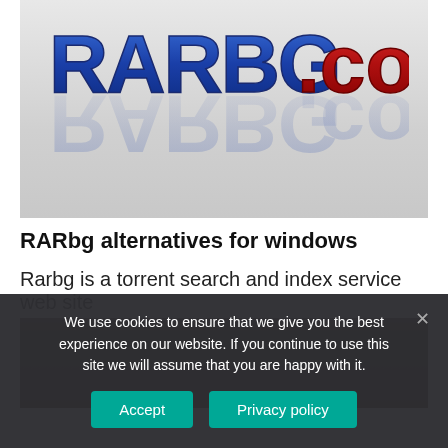[Figure (logo): RARBG.com logo on light grey gradient background. 'RARBG' in large blue 3D letters, '.com' in red 3D letters, with a mirror reflection below.]
RARbg alternatives for windows
Rarbg is a torrent search and index service web site
[Figure (photo): Partial photo visible behind cookie consent banner, appears to show a dark scene.]
We use cookies to ensure that we give you the best experience on our website. If you continue to use this site we will assume that you are happy with it.
Accept   Privacy policy